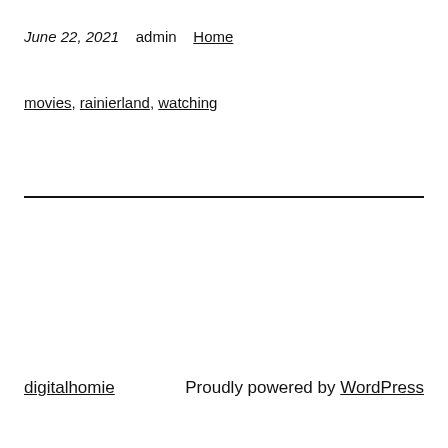June 22, 2021    admin    Home
movies, rainierland, watching
digitalhomie    Proudly powered by WordPress